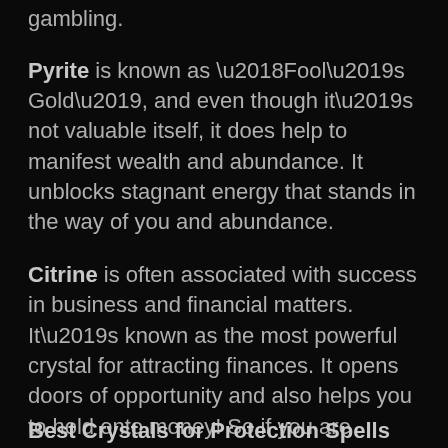gambling.
Pyrite is known as ‘Fool’s Gold’, and even though it’s not valuable itself, it does help to manifest wealth and abundance. It unblocks stagnant energy that stands in the way of you and abundance.
Citrine is often associated with success in business and financial matters. It’s known as the most powerful crystal for attracting finances. It opens doors of opportunity and also helps you to hold onto money! So if you are looking for a way to save or make money, then Citrine is the stone for you.
Best Crystals for Protection Spells